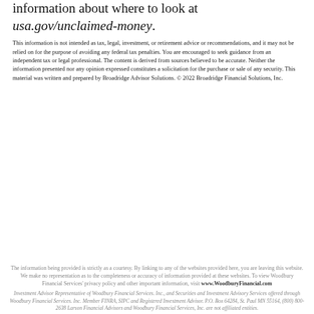information about where to look at usa.gov/unclaimed-money.
This information is not intended as tax, legal, investment, or retirement advice or recommendations, and it may not be relied on for the purpose of avoiding any federal tax penalties. You are encouraged to seek guidance from an independent tax or legal professional. The content is derived from sources believed to be accurate. Neither the information presented nor any opinion expressed constitutes a solicitation for the purchase or sale of any security. This material was written and prepared by Broadridge Advisor Solutions. © 2022 Broadridge Financial Solutions, Inc.
The information being provided is strictly as a courtesy. By linking to any of the websites provided here, you are leaving this website. We make no representation as to the completeness or accuracy of information provided at these websites. To view Woodbury Financial Services' privacy policy and other important information, visit www.WoodburyFinancial.com
Investment Advisor Representative of Woodbury Financial Services. Inc., and Securities and Investment Advisory Services offered through Woodbury Financial Services. Inc. Member FINRA, SIPC and Registered Investment Advisor. P.O. Box 64284, St. Paul MN 55164, (800) 800-2638 Larson Financial Advisors and Woodbury Financial Services, Inc. are not affiliated entities.